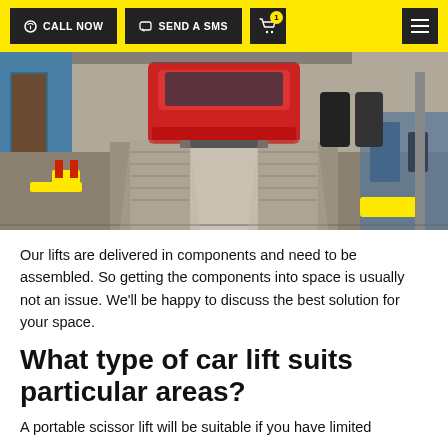CALL NOW | SEND A SMS
[Figure (photo): A red vehicle driving onto a car lift platform inside an automotive workshop. The workshop has blue walls, industrial equipment, and yellow car stands on the floor.]
Our lifts are delivered in components and need to be assembled. So getting the components into space is usually not an issue. We'll be happy to discuss the best solution for your space.
What type of car lift suits particular areas?
A portable scissor lift will be suitable if you have limited